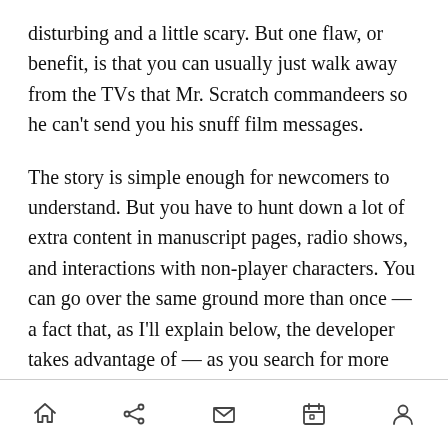disturbing and a little scary. But one flaw, or benefit, is that you can usually just walk away from the TVs that Mr. Scratch commandeers so he can't send you his snuff film messages.
The story is simple enough for newcomers to understand. But you have to hunt down a lot of extra content in manuscript pages, radio shows, and interactions with non-player characters. You can go over the same ground more than once — a fact that, as I'll explain below, the developer takes advantage of — as you search for more clues. You never find the manuscript pages in the right order, so you have to collect a lot of those pages before it all sinks in as a coherent story.
[navigation icons: home, share, mail, calendar, person]